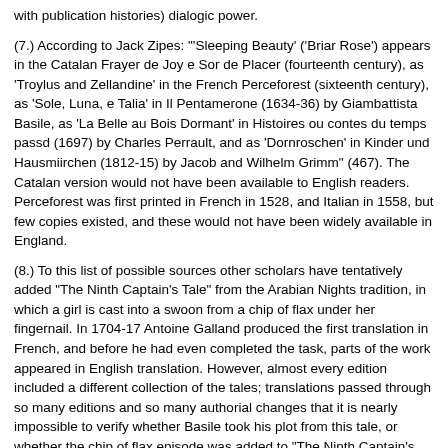with publication histories) dialogic power.
(7.) According to Jack Zipes: "'Sleeping Beauty' ('Briar Rose') appears in the Catalan Frayer de Joy e Sor de Placer (fourteenth century), as 'Troylus and Zellandine' in the French Perceforest (sixteenth century), as 'Sole, Luna, e Talia' in Il Pentamerone (1634-36) by Giambattista Basile, as 'La Belle au Bois Dormant' in Histoires ou contes du temps passd (1697) by Charles Perrault, and as 'Dornroschen' in Kinder und Hausmiirchen (1812-15) by Jacob and Wilhelm Grimm" (467). The Catalan version would not have been available to English readers. Perceforest was first printed in French in 1528, and Italian in 1558, but few copies existed, and these would not have been widely available in England.
(8.) To this list of possible sources other scholars have tentatively added "The Ninth Captain's Tale" from the Arabian Nights tradition, in which a girl is cast into a swoon from a chip of flax under her fingernail. In 1704-17 Antoine Galland produced the first translation in French, and before he had even completed the task, parts of the work appeared in English translation. However, almost every edition included a different collection of the tales; translations passed through so many editions and so many authorial changes that it is nearly impossible to verify whether Basile took his plot from this tale, or whether the chip of flax episode was added to "The Ninth Captain's Tale" after Basile's version. And while nearly every literate Victorian read the Arabian Nights Tales, is it impossible to know precisely who read which versions of the Tales, as authors never identify the tales by their compilers.
(9.) Fairy godmothers are invited to a celebration of the princess's birth. One fairy is omitted by accident, and curses the child to prick her hand on a spindle and drop down dead. Another fairy commutes the sentence to a